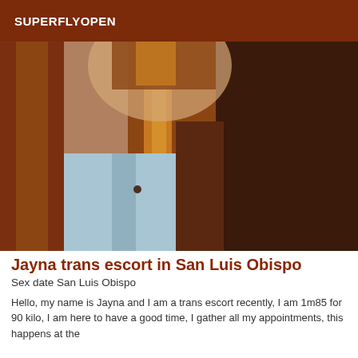SUPERFLYOPEN
[Figure (photo): Close-up photo of a person with long auburn/reddish-brown hair wearing a light blue chambray shirt and dark jacket, face cropped out of frame]
Jayna trans escort in San Luis Obispo
Sex date San Luis Obispo
Hello, my name is Jayna and I am a trans escort recently, I am 1m85 for 90 kilo, I am here to have a good time, I gather all my appointments, this happens at the